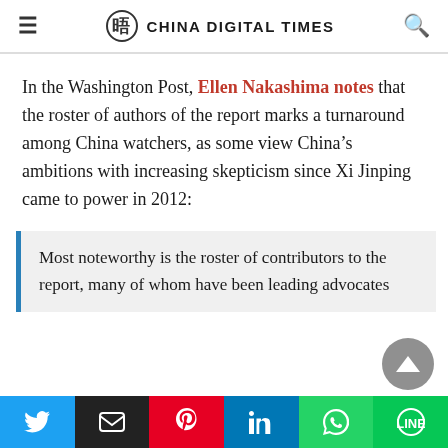CHINA DIGITAL TIMES
In the Washington Post, Ellen Nakashima notes that the roster of authors of the report marks a turnaround among China watchers, as some view China’s ambitions with increasing skepticism since Xi Jinping came to power in 2012:
Most noteworthy is the roster of contributors to the report, many of whom have been leading advocates for engagement…